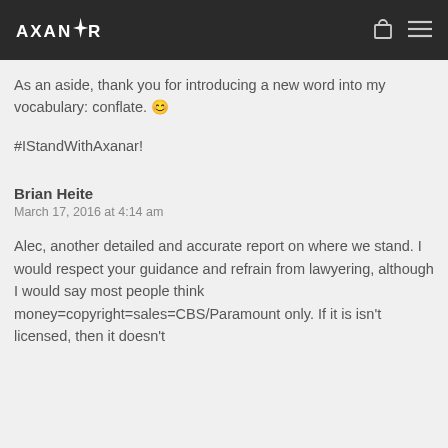AXANR
As an aside, thank you for introducing a new word into my vocabulary: conflate. 🙂
#IStandWithAxanar!
Brian Heite
March 17, 2016 at 4:14 am
Alec, another detailed and accurate report on where we stand. I would respect your guidance and refrain from lawyering, although I would say most people think money=copyright=sales=CBS/Paramount only. If it is isn't licensed, then it doesn't